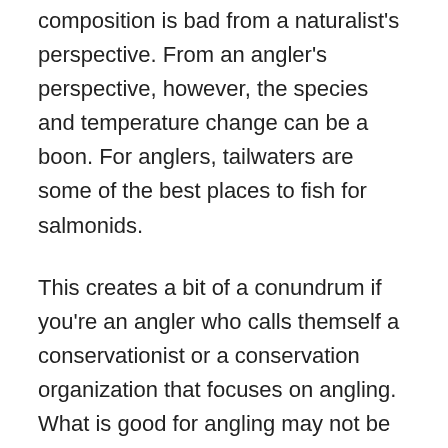composition is bad from a naturalist's perspective. From an angler's perspective, however, the species and temperature change can be a boon. For anglers, tailwaters are some of the best places to fish for salmonids.
This creates a bit of a conundrum if you're an angler who calls themself a conservationist or a conservation organization that focuses on angling. What is good for angling may not be good for the environment, or native species. Once you go down this rabbit hole, it illuminates several other related issues where conservation organizations promote certain activities that negatively impact the environment under the guise of conservation.